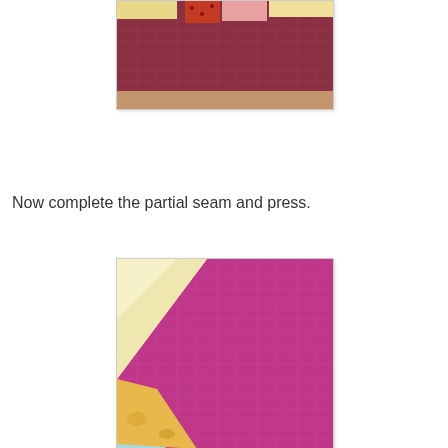[Figure (photo): Quilt fabric pieces (yellow, pink/floral, red polka dot) arranged on a dark red/maroon gridded cutting mat, showing a partial seam in progress.]
Now complete the partial seam and press.
[Figure (photo): Quilt fabric pieces (cream/yellow, light blue, orange/floral) arranged on a bright pink/magenta gridded cutting mat, showing the completed partial seam and pressed result.]